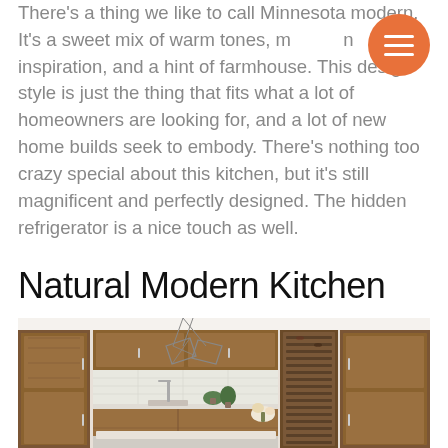There's a thing we like to call Minnesota modern. It's a sweet mix of warm tones, modern inspiration, and a hint of farmhouse. This design style is just the thing that fits what a lot of homeowners are looking for, and a lot of new home builds seek to embody. There's nothing too crazy special about this kitchen, but it's still magnificent and perfectly designed. The hidden refrigerator is a nice touch as well.
Natural Modern Kitchen
[Figure (photo): A natural modern kitchen with warm walnut wood flat-panel cabinets, a kitchen island with white countertops, green plants, geometric pendant lighting, and a built-in wine refrigerator.]